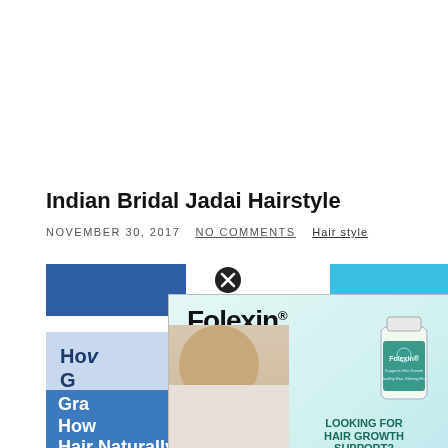Indian Bridal Jadai Hairstyle
NOVEMBER 30, 2017   NO COMMENTS   Hair style
[Figure (advertisement): Folexin hair growth supplement advertisement popup with man touching his hair, a supplement bottle, and text 'LOOKING FOR HAIR GROWTH SUPPORT? Click Here']
[Figure (advertisement): Blue banner ad with text 'How... G...' and red 'HERE' button]
[Figure (advertisement): Blue banner ad with text 'Gra... How... Hair Naturally!' and red 'CLICK HERE' button]